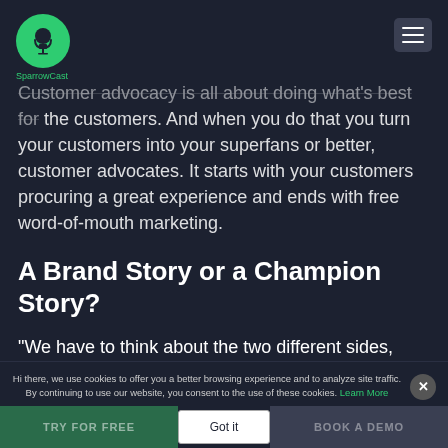SparrowCast
Customer advocacy is all about doing what's best for the customers. And when you do that you turn your customers into your superfans or better, customer advocates. It starts with your customers procuring a great experience and ends with free word-of-mouth marketing.
A Brand Story or a Champion Story?
“We have to think about the two different sides, once the sale happens and what happens after sales.”
Before the conversion point in the sales funnel, your
Hi there, we use cookies to offer you a better browsing experience and to analyze site traffic. By continuing to use our website, you consent to the use of these cookies. Learn More
Got it